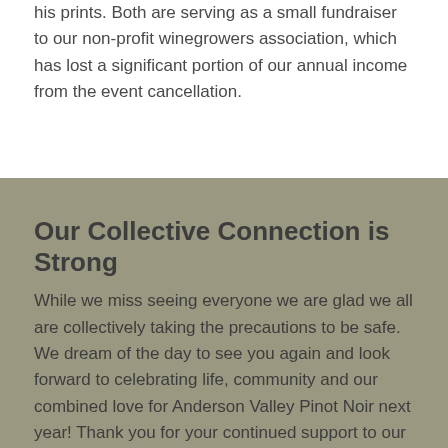his prints. Both are serving as a small fundraiser to our non-profit winegrowers association, which has lost a significant portion of our annual income from the event cancellation.
Our Collective Connection is Strong
While we miss seeing everyone we are glad we all are collectively taking the precautions to be safe. We dream of the day to see you again and look forward to celebrating life, community and our combined love for Anderson Valley Pinot Noir next year! Thank you for your continued support to our family-owned producers, both small and large.